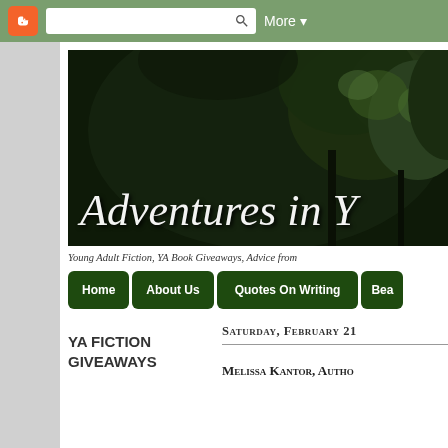[Figure (screenshot): Blogger toolbar with orange B icon, search box, and More dropdown on green background]
[Figure (photo): Dark forest/trees banner image with white serif text reading 'Adventures in Y' (partially cropped)]
Young Adult Fiction, YA Book Giveaways, Advice from
[Figure (screenshot): Dark green navigation bar with buttons: Home, About Us, Quotes On Writing, Bea (partially visible)]
YA FICTION GIVEAWAYS
Saturday, February 21
Melissa Kantor, Autho